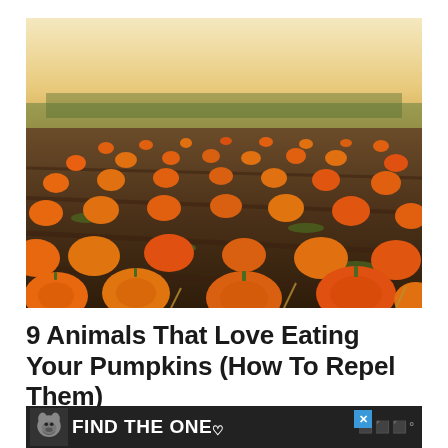[Figure (photo): A wide pumpkin field with many orange pumpkins scattered across dark soil, with a tree line and pale sky in the background, warm late afternoon light.]
9 Animals That Love Eating Your Pumpkins (How To Repel Them)
[Figure (other): Dark advertisement banner reading FIND THE ONE with a dog illustration on the left, a blue X close button, and a small logo on the right.]